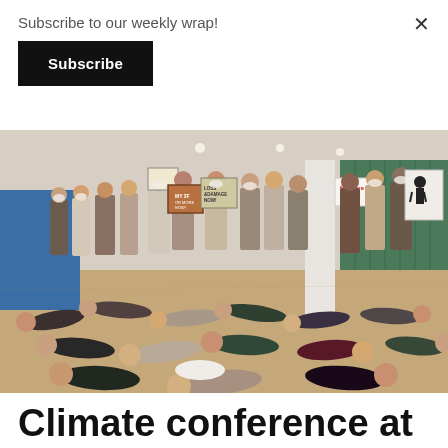Subscribe to our weekly wrap!
Subscribe
[Figure (photo): A large group of people inside a building lobby, many wearing masks. Some are lying on the floor in a die-in protest while others stand holding handmade signs including 'No More', 'Loss & Damage Now', and other climate-related slogans. This appears to be a climate protest at a conference venue.]
Climate conference at